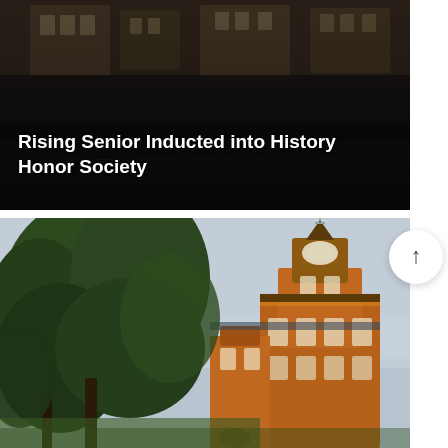[Figure (photo): Dark overhead photo of a campus or residential building at night or dusk, showing manicured lawn and building facade with exterior lights. White title text overlaid reads 'Rising Senior Inducted into History Honor Society'.]
Rising Senior Inducted into History Honor Society
[Figure (photo): Dusk photo of a historic red-brick academic building with a prominent clock tower/steeple topped by a cross, visible behind large green trees in the foreground. The sky is pale blue-gray. The building has Victorian architectural details.]